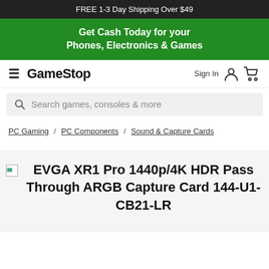FREE 1-3 Day Shipping Over $49
Get Cash Today for your Phones, Electronics & Games
GameStop — Sign In
Search games, consoles & more
PC Gaming / PC Components / Sound & Capture Cards
EVGA XR1 Pro 1440p/4K HDR Pass Through ARGB Capture Card 144-U1-CB21-LR